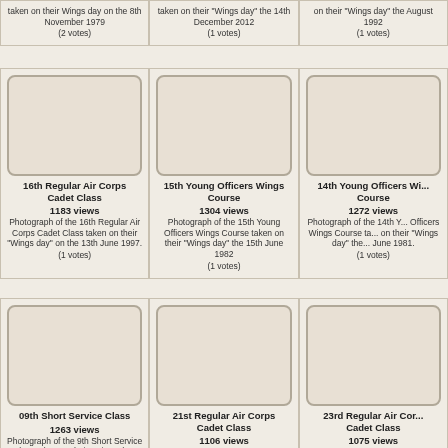taken on their Wings day on the 8th November 1979
(2 votes)
taken on their "Wings day" the 14th December 2012
(1 votes)
on their "Wings day" the August 1992
(1 votes)
[Figure (photo): Placeholder photo box for 16th Regular Air Corps Cadet Class]
16th Regular Air Corps Cadet Class
1183 views
Photograph of the 16th Regular Air Corps Cadet Class taken on their "Wings day" on the 13th June 1997.
(1 votes)
[Figure (photo): Placeholder photo box for 15th Young Officers Wings Course]
15th Young Officers Wings Course
1304 views
Photograph of the 15th Young Officers Wings Course taken on their "Wings day" the 15th June 1982
(1 votes)
[Figure (photo): Placeholder photo box for 14th Young Officers Wings Course]
14th Young Officers Wings Course
1272 views
Photograph of the 14th Young Officers Wings Course taken on their "Wings day" the June 1981.
(1 votes)
[Figure (photo): Placeholder photo box for 09th Short Service Class]
09th Short Service Class
1263 views
Photograph of the 9th Short Service Class taken on their "Wings day" the 21st August 1962
[Figure (photo): Placeholder photo box for 21st Regular Air Corps Cadet Class]
21st Regular Air Corps Cadet Class
1106 views
Photograph of the 21st Regular Air Corps Cadet Class on their "Wings day" the 12th
[Figure (photo): Placeholder photo box for 23rd Regular Air Corps Cadet Class]
23rd Regular Air Corps Cadet Class
1075 views
Photograph of the 23rd Regular Air Corps Cadet taken on their "Wings day"